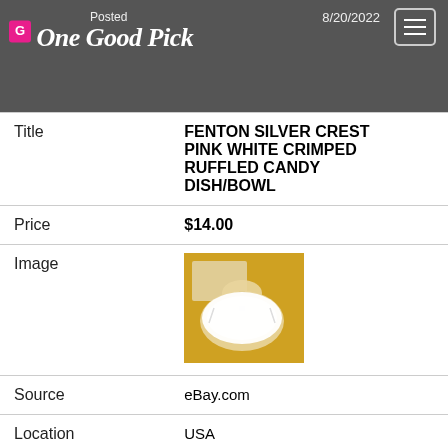One Good Pick — Posted 8/20/2022
| Field | Value |
| --- | --- |
| Title | FENTON SILVER CREST PINK WHITE CRIMPED RUFFLED CANDY DISH/BOWL |
| Price | $14.00 |
| Image | [product image] |
| Source | eBay.com |
| Location | USA |
| Posted | 8/17/2022 |
| Title | FENTON SILVER CREST RUFFLED MILKGLASS TWO TIER TIBIT BOWL, |